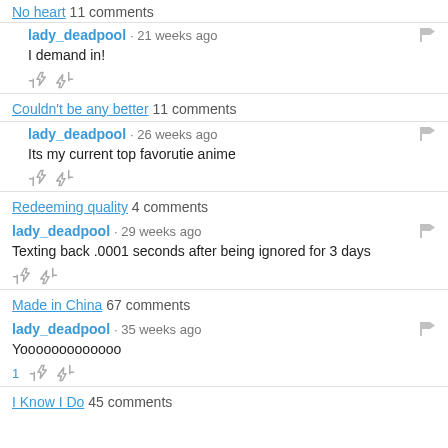No heart 11 comments
lady_deadpool · 21 weeks ago
I demand in!
Couldn't be any better 11 comments
lady_deadpool · 26 weeks ago
Its my current top favorutie anime
Redeeming quality 4 comments
lady_deadpool · 29 weeks ago
Texting back .0001 seconds after being ignored for 3 days
Made in China 67 comments
lady_deadpool · 35 weeks ago
Yooooooooooooo
I Know I Do 45 comments